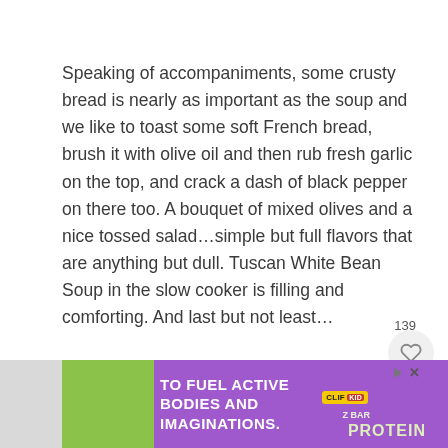Speaking of accompaniments, some crusty bread is nearly as important as the soup and we like to toast some soft French bread, brush it with olive oil and then rub fresh garlic on the top, and crack a dash of black pepper on there too. A bouquet of mixed olives and a nice tossed salad…simple but full flavors that are anything but dull. Tuscan White Bean Soup in the slow cooker is filling and comforting. And last but not least…
[Figure (photo): Advertisement banner at the bottom of the page featuring a child, Clif Kid branding, purple background with text 'TO FUEL ACTIVE BODIES AND IMAGINATIONS.' and protein bar imagery]